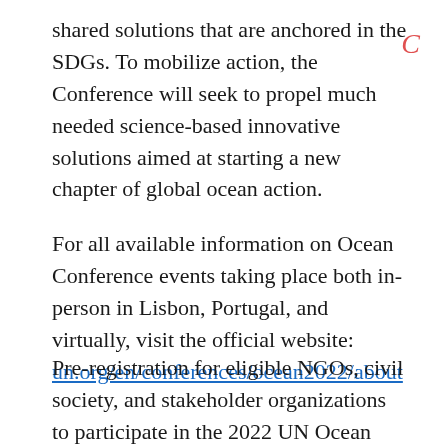shared solutions that are anchored in the SDGs. To mobilize action, the Conference will seek to propel much needed science-based innovative solutions aimed at starting a new chapter of global ocean action.
For all available information on Ocean Conference events taking place both in-person in Lisbon, Portugal, and virtually, visit the official website: un.org/en/conferences/ocean2022/about
Pre-registration for eligible NGOs, civil society, and stakeholder organizations to participate in the 2022 UN Ocean Conference is now open. Deadline is 16 May 2022!